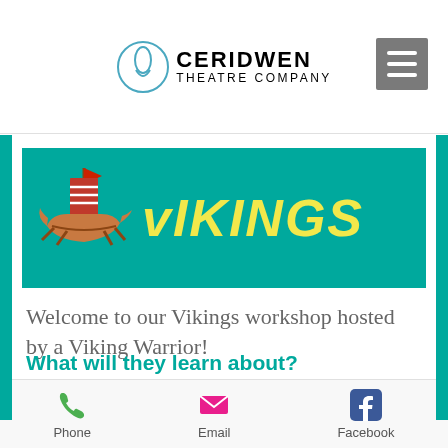CERIDWEN THEATRE COMPANY
[Figure (illustration): Teal banner with a cartoon Viking longship and the word VIKINGS in bold yellow italic text]
Welcome to our Vikings workshop hosted by a Viking Warrior!
What will they learn about?
Set sail with our Viking Warrior to conquer new lands. Hear the stories of Loki and Thor in this gripping folkloric adventure of the Nordic people who invaded us.
Phone   Email   Facebook